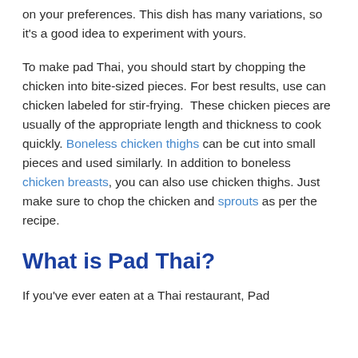on your preferences. This dish has many variations, so it's a good idea to experiment with yours.
To make pad Thai, you should start by chopping the chicken into bite-sized pieces. For best results, use can chicken labeled for stir-frying.  These chicken pieces are usually of the appropriate length and thickness to cook quickly. Boneless chicken thighs can be cut into small pieces and used similarly. In addition to boneless chicken breasts, you can also use chicken thighs. Just make sure to chop the chicken and sprouts as per the recipe.
What is Pad Thai?
If you've ever eaten at a Thai restaurant, Pad...